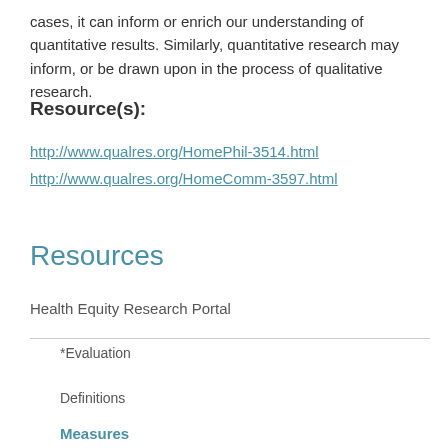cases, it can inform or enrich our understanding of quantitative results. Similarly, quantitative research may inform, or be drawn upon in the process of qualitative research.
Resource(s):
http://www.qualres.org/HomePhil-3514.html
http://www.qualres.org/HomeComm-3597.html
Resources
Health Equity Research Portal
*Evaluation
Definitions
Measures